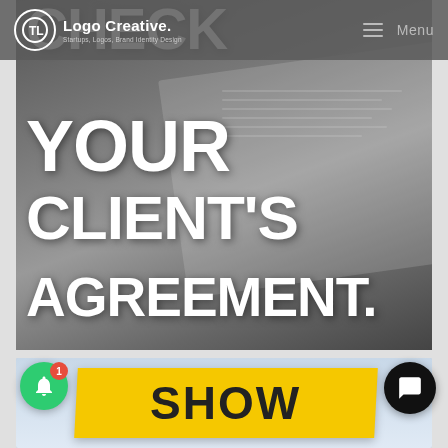Logo Creative. Startups, Logos, Brand Identity Design | Menu
[Figure (photo): Black and white photo of hands writing/signing a document with a pen, overlaid with bold white uppercase text reading CHECK YOUR CLIENT'S AGREEMENT.]
CHECK YOUR CLIENT'S AGREEMENT.
[Figure (photo): Partial view of a second image with yellow banner text reading SHOW on a light blue background, with a green notification bell icon with badge number 1, and a black chat button.]